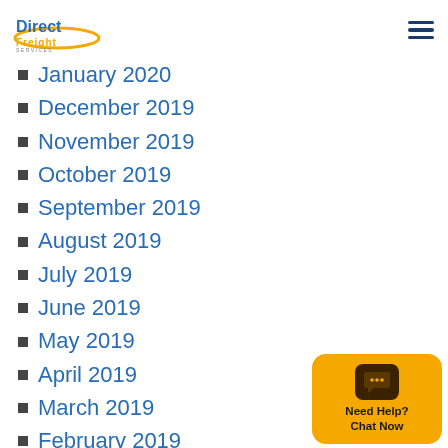DirectFreight Services
January 2020
December 2019
November 2019
October 2019
September 2019
August 2019
July 2019
June 2019
May 2019
April 2019
March 2019
February 2019